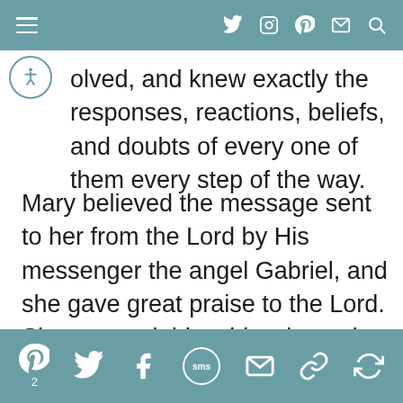Navigation header with hamburger menu and social icons (Twitter, Instagram, Pinterest, Email, Search)
olved, and knew exactly the responses, reactions, beliefs, and doubts of every one of them every step of the way.
Mary believed the message sent to her from the Lord by His messenger the angel Gabriel, and she gave great praise to the Lord. She counted this a blessing to be grateful for. She, in faith, accepted the will of God that she would bear the Son of the Most High, and bring the Messiah into the
Social share bar: Pinterest (2), Twitter, Facebook, SMS, Email, Link, More